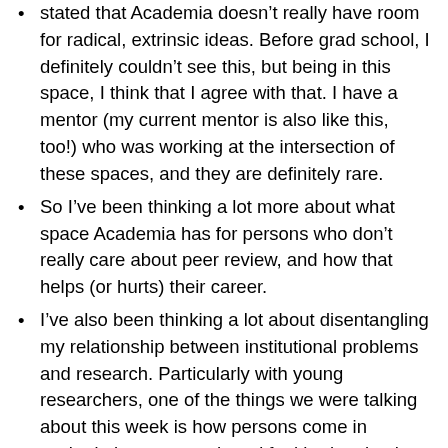stated that Academia doesn't really have room for radical, extrinsic ideas. Before grad school, I definitely couldn't see this, but being in this space, I think that I agree with that. I have a mentor (my current mentor is also like this, too!) who was working at the intersection of these spaces, and they are definitely rare.
So I've been thinking a lot more about what space Academia has for persons who don't really care about peer review, and how that helps (or hurts) their career.
I've also been thinking a lot about disentangling my relationship between institutional problems and research. Particularly with young researchers, one of the things we were talking about this week is how persons come in excited about research and feel broken by the process. But a lot of these issues are explicitly institutional